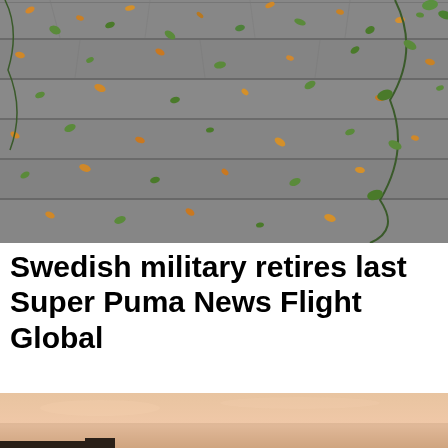[Figure (photo): Overhead view of a wooden deck/planks with scattered small green and orange/yellow leaves scattered across the grey weathered wood surface]
Swedish military retires last Super Puma News Flight Global
[Figure (photo): Partial view of a sunset or sunrise scene with warm peach/orange sky tones and a silhouette at the bottom edge]